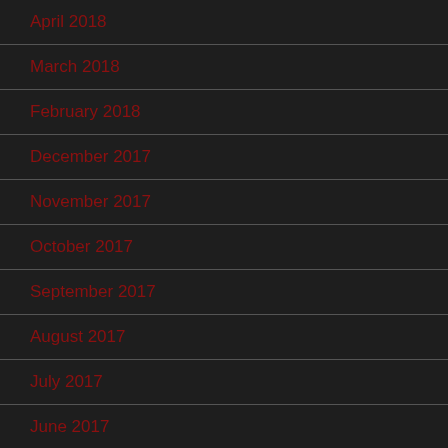April 2018
March 2018
February 2018
December 2017
November 2017
October 2017
September 2017
August 2017
July 2017
June 2017
May 2017